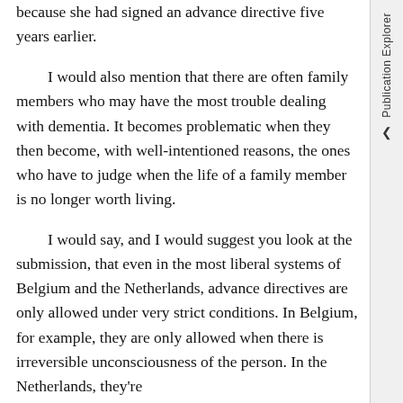because she had signed an advance directive five years earlier.
I would also mention that there are often family members who may have the most trouble dealing with dementia. It becomes problematic when they then become, with well-intentioned reasons, the ones who have to judge when the life of a family member is no longer worth living.
I would say, and I would suggest you look at the submission, that even in the most liberal systems of Belgium and the Netherlands, advance directives are only allowed under very strict conditions. In Belgium, for example, they are only allowed when there is irreversible unconsciousness of the person. In the Netherlands, they're
Publication Explorer